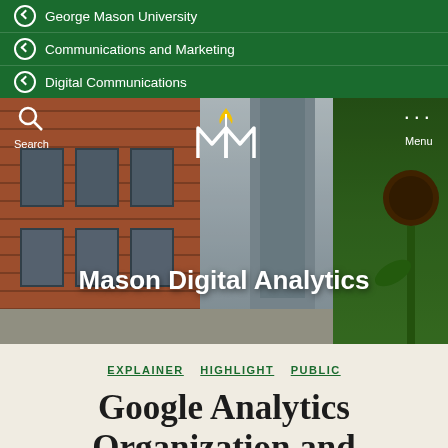George Mason University
Communications and Marketing
Digital Communications
[Figure (screenshot): George Mason University website hero banner showing Mason Digital Analytics page with a campus building with brick wall on left, a tower in center, sunflower on right, Mason M logo, search and menu icons, and the title 'Mason Digital Analytics']
EXPLAINER  HIGHLIGHT  PUBLIC
Google Analytics Organization and